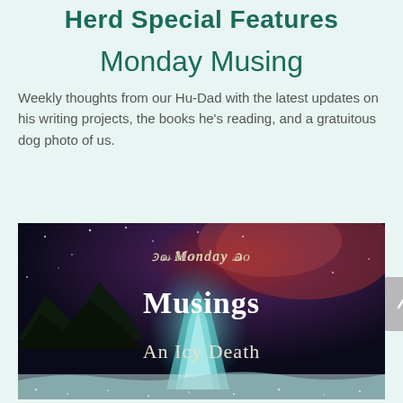Herd Special Features
Monday Musing
Weekly thoughts from our Hu-Dad with the latest updates on his writing projects, the books he's reading, and a gratuitous dog photo of us.
[Figure (illustration): Book cover image showing 'Monday Musings: An Icy Death' with a dark, icy landscape background featuring mountains, stars, and glacial formations. Text reads 'Monday Musings' at top and 'An Icy Death' below in serif white/cream font.]